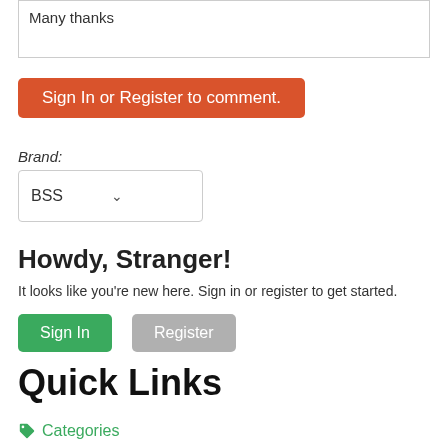Many thanks
Sign In or Register to comment.
Brand:
BSS
Howdy, Stranger!
It looks like you're new here. Sign in or register to get started.
Sign In
Register
Quick Links
Categories